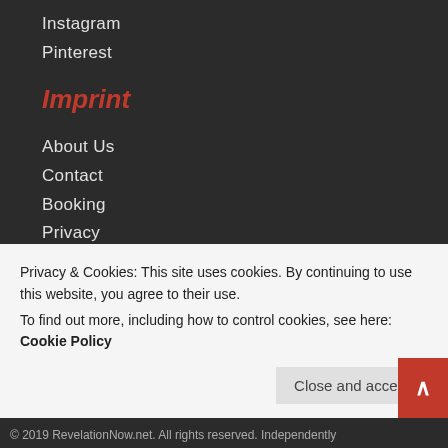Instagram
Pinterest
Imprint
About Us
Contact
Booking
Privacy
SUBSCRIBE VIA EMAIL
Be the first to know about the newest post, videos, and breaking news for truth seekers.
Privacy & Cookies: This site uses cookies. By continuing to use this website, you agree to their use. To find out more, including how to control cookies, see here: Cookie Policy
Close and accept
© 2019 RevelationNow.net. All rights reserved. Independently